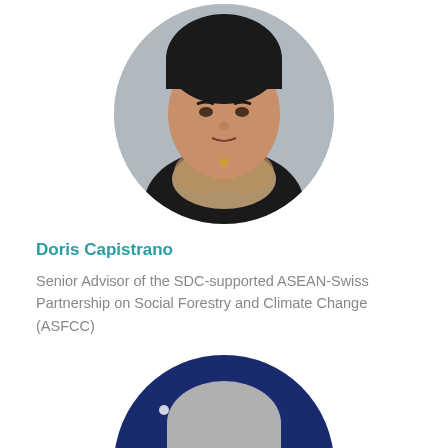[Figure (photo): Circular portrait photo of Doris Capistrano, a woman with dark hair wearing a black jacket and patterned scarf]
Doris Capistrano
Senior Advisor of the SDC-supported ASEAN-Swiss Partnership on Social Forestry and Climate Change (ASFCC)
[Figure (photo): Circular portrait photo of a grey-haired man in front of a blue background with stars (flag)]